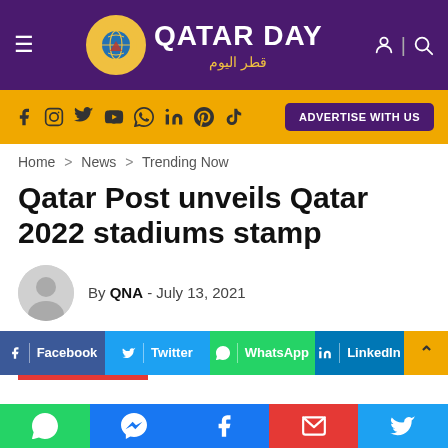Qatar Day — قطر اليوم
f  Instagram  Twitter  YouTube  WhatsApp  in  Pinterest  TikTok  |  ADVERTISE WITH US
Home > News > Trending Now
Qatar Post unveils Qatar 2022 stadiums stamp
By QNA - July 13, 2021
f | Facebook   Twitter   WhatsApp   in | LinkedIn
WhatsApp  Messenger  Facebook  Email  Twitter